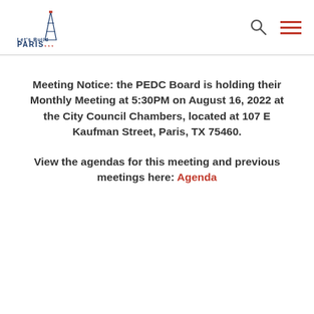Let's Build Paris — logo with search and menu icons
Meeting Notice: the PEDC Board is holding their Monthly Meeting at 5:30PM on August 16, 2022 at the City Council Chambers, located at 107 E Kaufman Street, Paris, TX 75460.
View the agendas for this meeting and previous meetings here: Agenda